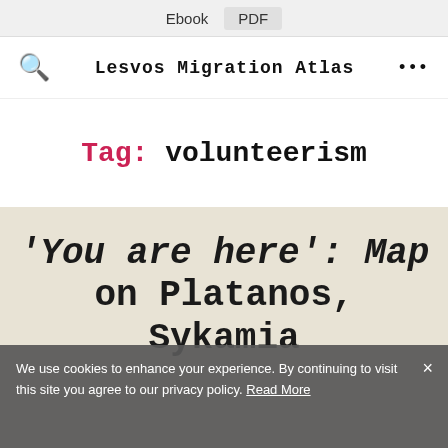Ebook  PDF
Lesvos Migration Atlas
Tag: volunteerism
'You are here': Map on Platanos, Sykamia
We use cookies to enhance your experience. By continuing to visit this site you agree to our privacy policy. Read More